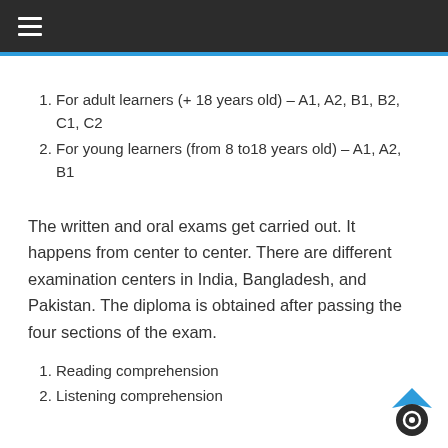≡ (hamburger menu)
1. For adult learners (+ 18 years old) – A1, A2, B1, B2, C1, C2
2. For young learners (from 8 to18 years old) – A1, A2, B1
The written and oral exams get carried out. It happens from center to center. There are different examination centers in India, Bangladesh, and Pakistan. The diploma is obtained after passing the four sections of the exam.
1. Reading comprehension
2. Listening comprehension